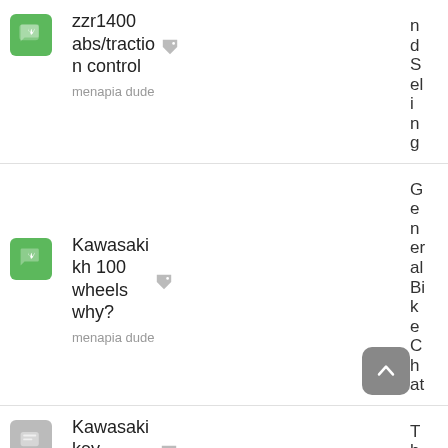[Figure (screenshot): Forum/community app screenshot showing three post rows. Row 1: green flame icon, post title 'zzr1400 abs/traction control' by 'menapia dude', right column text 'ndSeling'. Row 2: green flame icon, post title 'Kawasaki kh 100 wheels why?' by 'menapia dude', right column text 'GeneralBikeChat'. Row 3 (partial): gray icon, post title 'Kawasaki key programm...' partially visible, right column text 'TheWo...'. A scroll-to-top button (gray rounded square with chevron up) appears between rows 2 and 3.]